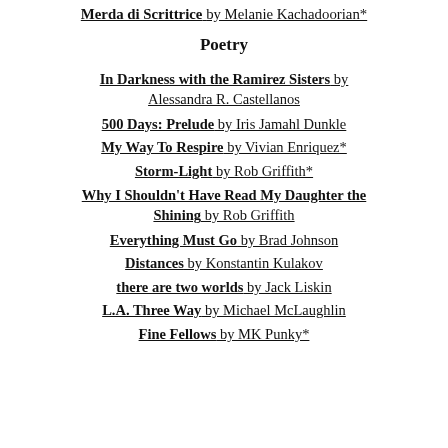Merda di Scrittrice by Melanie Kachadoorian*
Poetry
In Darkness with the Ramirez Sisters by Alessandra R. Castellanos
500 Days: Prelude by Iris Jamahl Dunkle
My Way To Respire by Vivian Enriquez*
Storm-Light by Rob Griffith*
Why I Shouldn't Have Read My Daughter the Shining by Rob Griffith
Everything Must Go by Brad Johnson
Distances by Konstantin Kulakov
there are two worlds by Jack Liskin
L.A. Three Way by Michael McLaughlin
Fine Fellows by MK Punky*